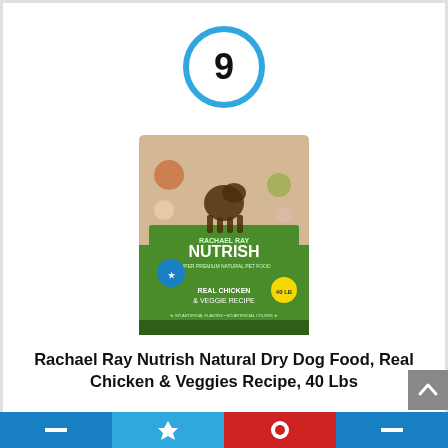[Figure (other): Circle with number 9 inside, outlined in blue, representing a ranking number badge]
[Figure (photo): Product image of Rachael Ray Nutrish Natural Dry Dog Food bag, Real Chicken & Veggies Recipe, 40 Lbs, with green and tan packaging showing a dog silhouette]
Rachael Ray Nutrish Natural Dry Dog Food, Real Chicken & Veggies Recipe, 40 Lbs
By Rachael Ray Nutrish